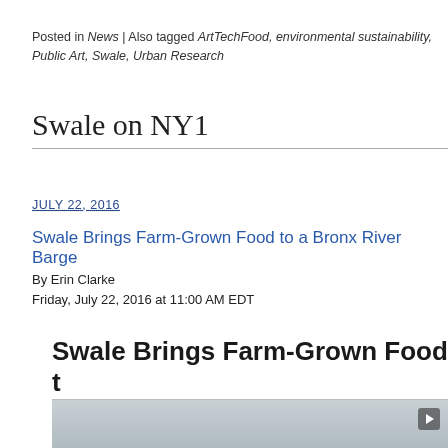Posted in News | Also tagged ArtTechFood, environmental sustainability, Public Art, Swale, Urban Research
Swale on NY1
JULY 22, 2016
Swale Brings Farm-Grown Food to a Bronx River Barge
By Erin Clarke
Friday, July 22, 2016 at 11:00 AM EDT
Swale Brings Farm-Grown Food to a Bronx River Barge
By Erin Clarke
Friday, July 22, 2016 at 11:00 AM EDT
[Figure (photo): Bottom portion of an embedded NY1 news article showing a partial image/screenshot]